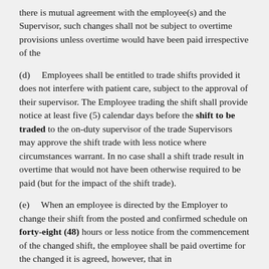there is mutual agreement with the employee(s) and the Supervisor, such changes shall not be subject to overtime provisions unless overtime would have been paid irrespective of the
(d)    Employees shall be entitled to trade shifts provided it does not interfere with patient care, subject to the approval of their supervisor. The Employee trading the shift shall provide notice at least five (5) calendar days before the shift to be traded to the on-duty supervisor of the trade Supervisors may approve the shift trade with less notice where circumstances warrant. In no case shall a shift trade result in overtime that would not have been otherwise required to be paid (but for the impact of the shift trade).
(e)    When an employee is directed by the Employer to change their shift from the posted and confirmed schedule on forty-eight (48) hours or less notice from the commencement of the changed shift, the employee shall be paid overtime for the changed it is agreed, however, that in